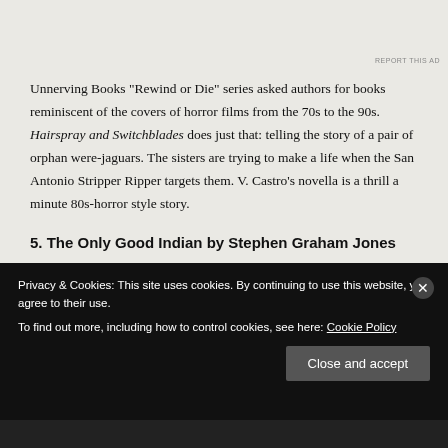Unnerving Books “Rewind or Die” series asked authors for books reminiscent of the covers of horror films from the 70s to the 90s. Hairspray and Switchblades does just that: telling the story of a pair of orphan were-jaguars. The sisters are trying to make a life when the San Antonio Stripper Ripper targets them. V. Castro’s novella is a thrill a minute 80s-horror style story.
5. The Only Good Indian by Stephen Graham Jones
Privacy & Cookies: This site uses cookies. By continuing to use this website, you agree to their use. To find out more, including how to control cookies, see here: Cookie Policy
Close and accept